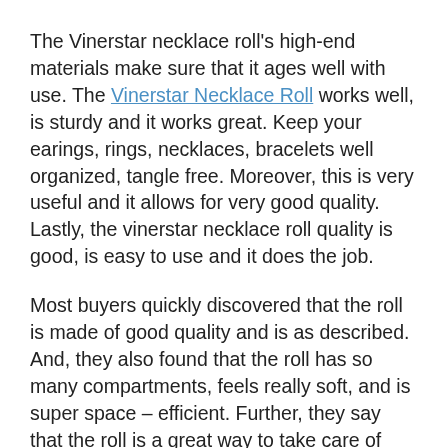The Vinerstar necklace roll's high-end materials make sure that it ages well with use. The Vinerstar Necklace Roll works well, is sturdy and it works great. Keep your earings, rings, necklaces, bracelets well organized, tangle free. Moreover, this is very useful and it allows for very good quality. Lastly, the vinerstar necklace roll quality is good, is easy to use and it does the job.
Most buyers quickly discovered that the roll is made of good quality and is as described. And, they also found that the roll has so many compartments, feels really soft, and is super space – efficient. Further, they say that the roll is a great way to take care of gems. Overall, for most customers, the roll was most suitable.